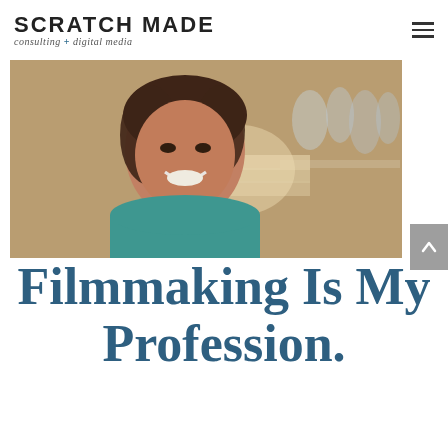SCRATCH MADE consulting + digital media
[Figure (photo): A smiling woman with dark hair pulled back, wearing a teal top, photographed in front of shelves with blurred items in the background. Warm lighting.]
Filmmaking Is My Profession.